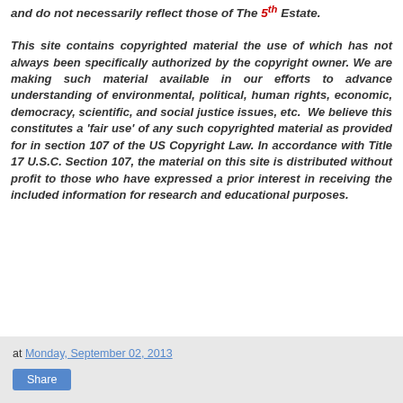and do not necessarily reflect those of The 5th Estate.
This site contains copyrighted material the use of which has not always been specifically authorized by the copyright owner. We are making such material available in our efforts to advance understanding of environmental, political, human rights, economic, democracy, scientific, and social justice issues, etc.  We believe this constitutes a 'fair use' of any such copyrighted material as provided for in section 107 of the US Copyright Law. In accordance with Title 17 U.S.C. Section 107, the material on this site is distributed without profit to those who have expressed a prior interest in receiving the included information for research and educational purposes.
at Monday, September 02, 2013
Share